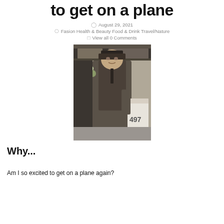to get on a plane
August 29, 2021
Fasion Health & Beauty Food & Drink Travel/Nature
View all 0 Comments
[Figure (photo): Black and white photo of a man in a coat and hat holding flowers, standing next to a post marked 497]
Why...
Am I so excited to get on a plane again?